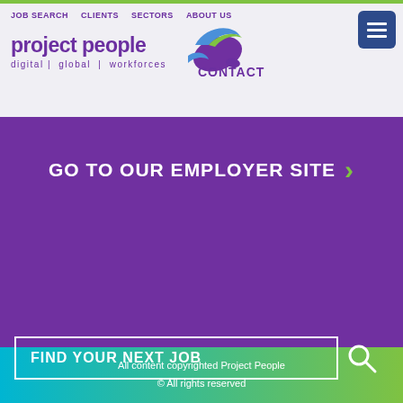JOB SEARCH | CLIENTS | SECTORS | ABOUT US
[Figure (logo): Project People logo with bird icon and tagline: digital | global | workforces]
CONTACT
GO TO OUR EMPLOYER SITE
[Figure (illustration): Social media icons: Facebook, Twitter, LinkedIn in white circles]
PRIVACY POLICY   TERMS & CONDITIONS
SLAVERY STATEMENT
FIND YOUR NEXT JOB
All content copyrighted Project People
© All rights reserved